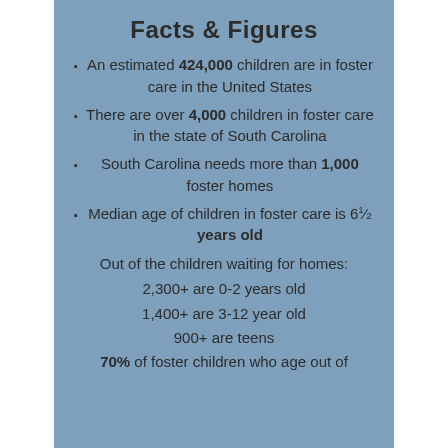Facts & Figures
An estimated 424,000 children are in foster care in the United States
There are over 4,000 children in foster care in the state of South Carolina
South Carolina needs more than 1,000 foster homes
Median age of children in foster care is 6½ years old
Out of the children waiting for homes:
2,300+ are 0-2 years old
1,400+ are 3-12 year old
900+ are teens
70% of foster children who age out of